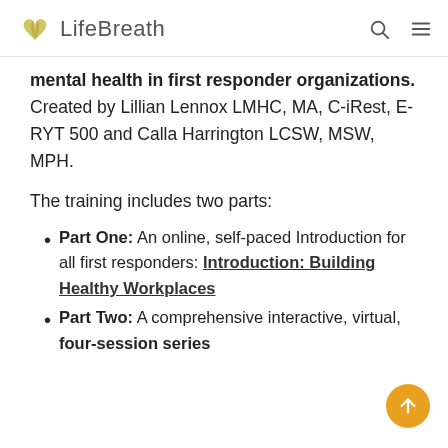LifeBreath
mental health in first responder organizations. Created by Lillian Lennox LMHC, MA, C-iRest, E-RYT 500 and Calla Harrington LCSW, MSW, MPH.
The training includes two parts:
Part One: An online, self-paced Introduction for all first responders: Introduction: Building Healthy Workplaces
Part Two: A comprehensive interactive, virtual, four-session series